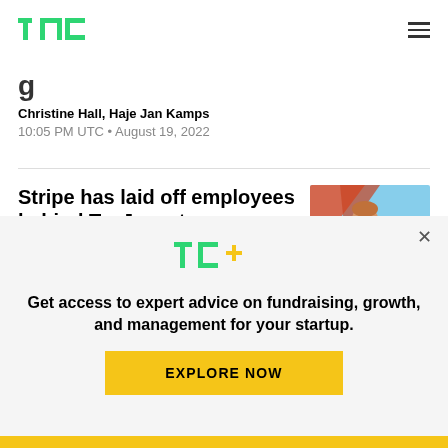TechCrunch header with logo and hamburger menu
Christine Hall, Haje Jan Kamps
10:05 PM UTC • August 19, 2022
Stripe has laid off employees behind TaxJar, a tax compliance startup it acquired last year
[Figure (photo): Photo of a man with reddish hair holding a small device, speaking at an event]
Get access to expert advice on fundraising, growth, and management for your startup.
EXPLORE NOW